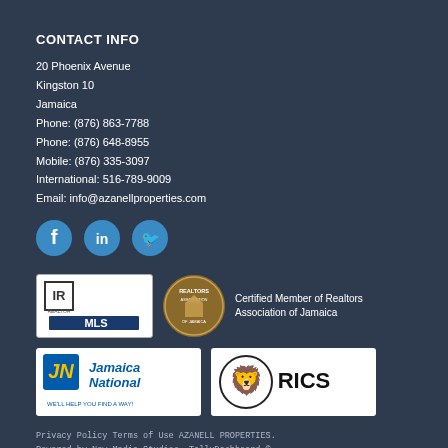CONTACT INFO
20 Phoenix Avenue
Kingston 10
Jamaica
Phone: (876) 863-7788
Phone: (876) 648-8955
Mobile: (876) 335-3097
International: 516-789-9009
Email: info@azanellproperties.com
[Figure (logo): Social media icons: Facebook, LinkedIn, Twitter]
[Figure (logo): MLS logo, Realtors Association of Jamaica seal, with text: Certified Member of Realtors Association of Jamaica]
[Figure (logo): Jamaica National logo and RICS logo]
Privacy Policy Terms of Use AZANELL PROPERTIES.
Powered by New Media Studios, TallyDashboard ©